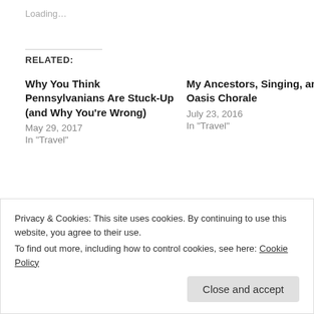Loading…
RELATED:
Why You Think Pennsylvanians Are Stuck-Up (and Why You're Wrong)
May 29, 2017
In "Travel"
My Ancestors, Singing, and Oasis Chorale
July 23, 2016
In "Travel"
Because Kansas
July 19, 2018
In "Travel"
Privacy & Cookies: This site uses cookies. By continuing to use this website, you agree to their use.
To find out more, including how to control cookies, see here: Cookie Policy